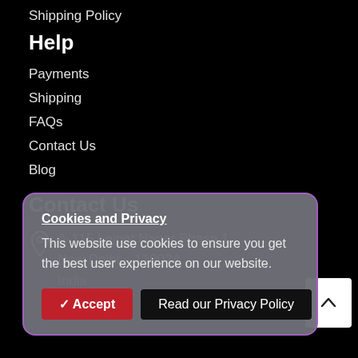Shipping Policy
Help
Payments
Shipping
FAQs
Contact Us
Blog
Contact Us
A-115 Lajpat Nagar Phase 1
New Delhi – 110024
India
Cookies and Privacy
This website use cookies to ensure you get the best user experience on our website.
✔ Accept
Read our Privacy Policy
ts Reser